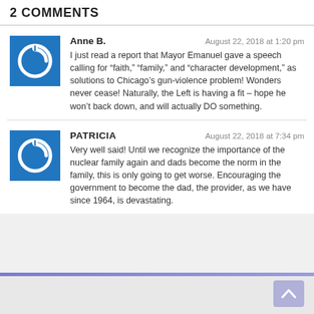2 COMMENTS
Anne B.
August 22, 2018 at 1:20 pm
I just read a report that Mayor Emanuel gave a speech calling for “faith,” “family,” and “character development,” as solutions to Chicago’s gun-violence problem! Wonders never cease! Naturally, the Left is having a fit – hope he won’t back down, and will actually DO something.
PATRICIA
August 22, 2018 at 7:34 pm
Very well said! Until we recognize the importance of the nuclear family again and dads become the norm in the family, this is only going to get worse. Encouraging the government to become the dad, the provider, as we have since 1964, is devastating.